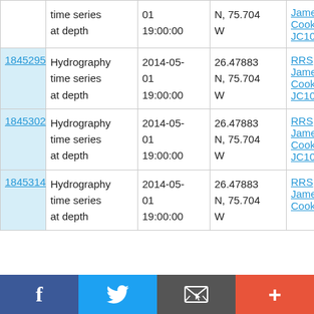| ID | Type | Date | Location | Source |
| --- | --- | --- | --- | --- |
|  | Hydrography time series at depth | 2014-05-01 19:00:00 | N, 75.704 W | RRS James Cook JC103 |
| 1845295 | Hydrography time series at depth | 2014-05-01 19:00:00 | 26.47883 N, 75.704 W | RRS James Cook JC103 |
| 1845302 | Hydrography time series at depth | 2014-05-01 19:00:00 | 26.47883 N, 75.704 W | RRS James Cook JC103 |
| 1845314 | Hydrography time series at depth | 2014-05-01 19:00:00 | 26.47883 N, 75.704 W | RRS James Cook |